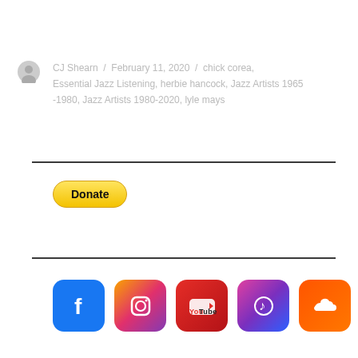CJ Shearn / February 11, 2020 / chick corea, Essential Jazz Listening, herbie hancock, Jazz Artists 1965-1980, Jazz Artists 1980-2020, lyle mays
[Figure (other): PayPal Donate button]
[Figure (other): Social media icons: Facebook, Instagram, YouTube, Apple Music, SoundCloud]